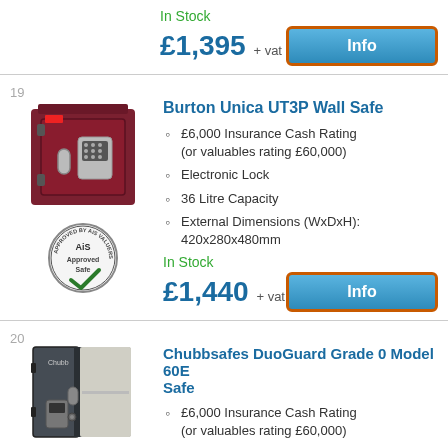In Stock
£1,395 + vat
[Figure (other): Blue Info button with orange border]
19
[Figure (photo): Burton Unica UT3P Wall Safe - dark red/maroon metal safe with electronic keypad lock]
[Figure (logo): AiS Approved Safe circular badge/seal]
Burton Unica UT3P Wall Safe
£6,000 Insurance Cash Rating (or valuables rating £60,000)
Electronic Lock
36 Litre Capacity
External Dimensions (WxDxH): 420x280x480mm
In Stock
£1,440 + vat
[Figure (other): Blue Info button with orange border]
20
[Figure (photo): Chubbsafes DuoGuard Grade 0 Model 60E Safe - dark grey metal safe open showing interior shelf]
Chubbsafes DuoGuard Grade 0 Model 60E Safe
£6,000 Insurance Cash Rating (or valuables rating £60,000)